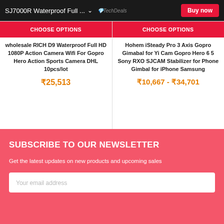SJ7000R Waterproof Full ... Buy now
CHOOSE OPTIONS
CHOOSE OPTIONS
wholesale RICH D9 Waterproof Full HD 1080P Action Camera Wifi For Gopro Hero Action Sports Camera DHL 10pcs/lot
₹25,513
Hohem iSteady Pro 3 Axis Gopro Gimabal for Yi Cam Gopro Hero 6 5 Sony RXO SJCAM Stabilizer for Phone Gimbal for iPhone Samsung
₹10,667 - ₹34,701
SUBSCRIBE TO OUR NEWSLETTER
Get the latest updates on new products and upcoming sales
Your email address